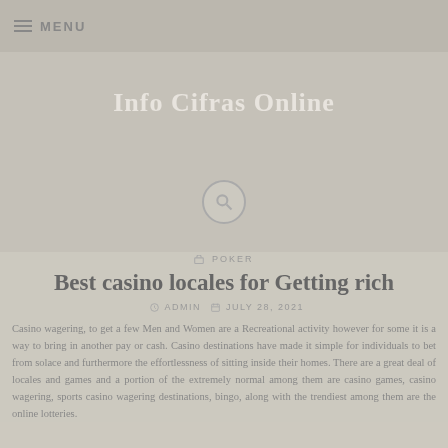MENU
Info Cifras Online
POKER
Best casino locales for Getting rich
ADMIN   JULY 28, 2021
Casino wagering, to get a few Men and Women are a Recreational activity however for some it is a way to bring in another pay or cash. Casino destinations have made it simple for individuals to bet from solace and furthermore the effortlessness of sitting inside their homes. There are a great deal of locales and games and a portion of the extremely normal among them are casino games, casino wagering, sports casino wagering destinations, bingo, along with the trendiest among them are the online lotteries.